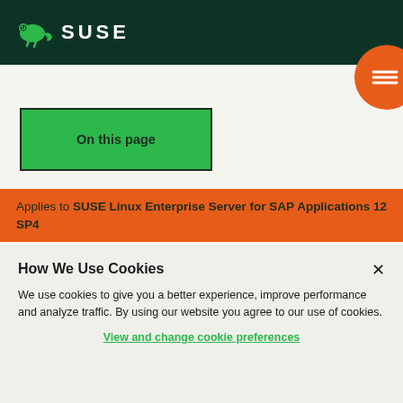SUSE
On this page
Applies to SUSE Linux Enterprise Server for SAP Applications 12 SP4
How We Use Cookies
We use cookies to give you a better experience, improve performance and analyze traffic. By using our website you agree to our use of cookies.
View and change cookie preferences